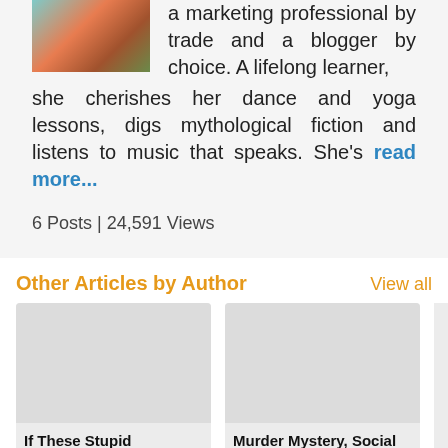[Figure (photo): Portrait photo of a woman with colorful attire and turquoise hair]
a marketing professional by trade and a blogger by choice. A lifelong learner, she cherishes her dance and yoga lessons, digs mythological fiction and listens to music that speaks. She's read more...
6 Posts | 24,591 Views
Other Articles by Author
View all
[Figure (photo): Article thumbnail image placeholder]
If These Stupid Bollywood Movies Are Our Teachers, Maybe
[Figure (photo): Article thumbnail image placeholder]
Murder Mystery, Social Awareness, And Erotica All Rolled Into One